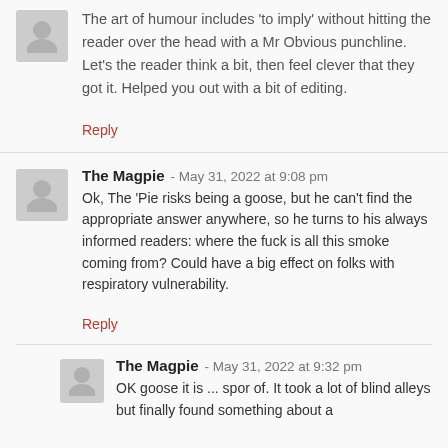The art of humour includes 'to imply' without hitting the reader over the head with a Mr Obvious punchline. Let's the reader think a bit, then feel clever that they got it. Helped you out with a bit of editing.
Reply
The Magpie - May 31, 2022 at 9:08 pm
Ok, The 'Pie risks being a goose, but he can't find the appropriate answer anywhere, so he turns to his always informed readers: where the fuck is all this smoke coming from? Could have a big effect on folks with respiratory vulnerability.
Reply
The Magpie - May 31, 2022 at 9:32 pm
OK goose it is ... spor of. It took a lot of blind alleys but finally found something about a